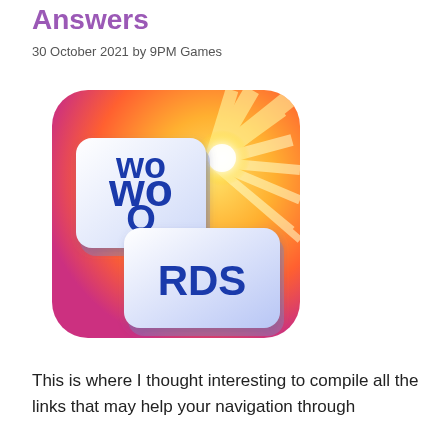Answers
30 October 2021 by 9PM Games
[Figure (illustration): Words of Wonders (WOW) game app icon showing two white rounded square tiles spelling 'WORDS' against a colorful orange, yellow and pink gradient background with sunburst effect]
This is where I thought interesting to compile all the links that may help your navigation through